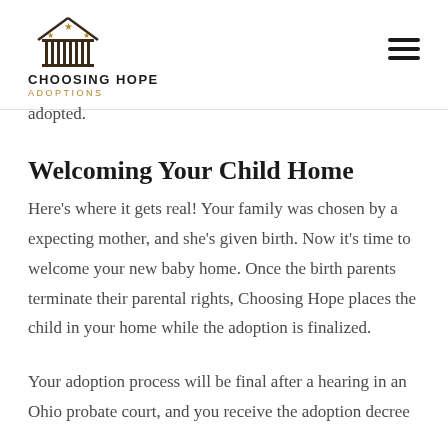CHOOSING HOPE ADOPTIONS
adopted.
Welcoming Your Child Home
Here's where it gets real! Your family was chosen by a expecting mother, and she's given birth. Now it's time to welcome your new baby home. Once the birth parents terminate their parental rights, Choosing Hope places the child in your home while the adoption is finalized.
Your adoption process will be final after a hearing in an Ohio probate court, and you receive the adoption decree